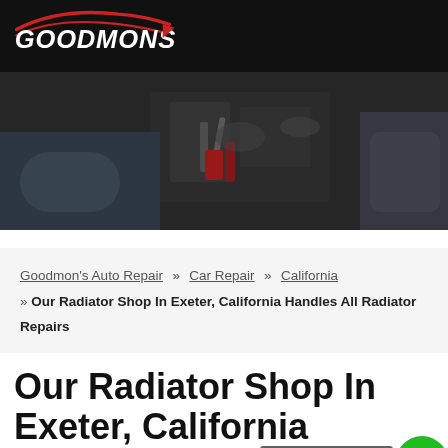GOODMONS
[Figure (photo): Mechanic hands working on a car engine with tools, dark workshop background]
Goodmon's Auto Repair » Car Repair » California » Our Radiator Shop In Exeter, California Handles All Radiator Repairs
Our Radiator Shop In Exeter, California Handles All Radiator Repairs